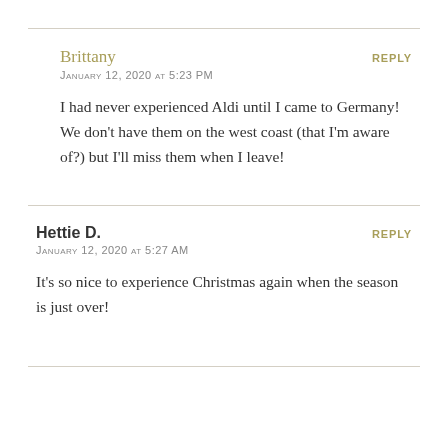Brittany
REPLY
January 12, 2020 at 5:23 PM
I had never experienced Aldi until I came to Germany! We don't have them on the west coast (that I'm aware of?) but I'll miss them when I leave!
Hettie D.
REPLY
January 12, 2020 at 5:27 AM
It's so nice to experience Christmas again when the season is just over!